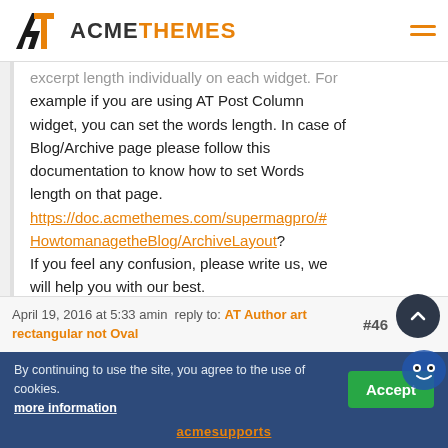ACMETHEMES
excerpt length individually on each widget. For example if you are using AT Post Column widget, you can set the words length. In case of Blog/Archive page please follow this documentation to know how to set Words length on that page. https://doc.acmethemes.com/supermagpro/#HowtomanagetheBlog/ArchiveLayout? If you feel any confusion, please write us, we will help you with our best.

Regards,
Thanks !
April 19, 2016 at 5:33 amin reply to: AT Author art rectangular not Oval #46
By continuing to use the site, you agree to the use of cookies. more information
acmesupports